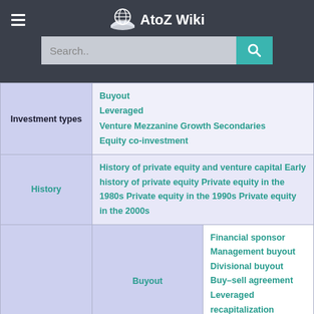AtoZ Wiki
| Investment types | Buyout
Leveraged
Venture Mezzanine Growth Secondaries
Equity co-investment |
| History | History of private equity and venture capital Early history of private equity Private equity in the 1980s Private equity in the 1990s Private equity in the 2000s |
|  | Buyout | Financial sponsor
Management buyout
Divisional buyout Buy–sell agreement Leveraged recapitalization Dividend |